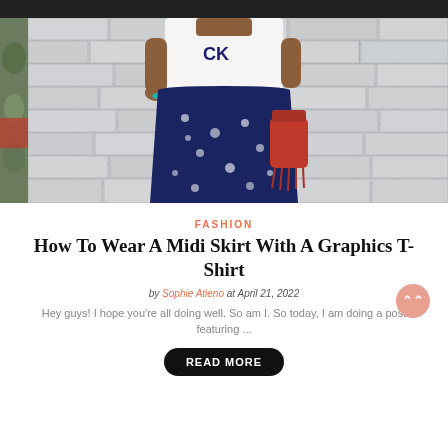[Figure (photo): Fashion photo of a woman wearing a white CK graphic t-shirt and a navy blue midi skirt with white floral print, holding a red bag, standing in front of a stone brick wall]
FASHION
How To Wear A Midi Skirt With A Graphics T-Shirt
by Sophie Atieno at April 21, 2022
Hey guys! I hope you're all doing well. So am I. So today, I am doing a post featuring ...
READ MORE